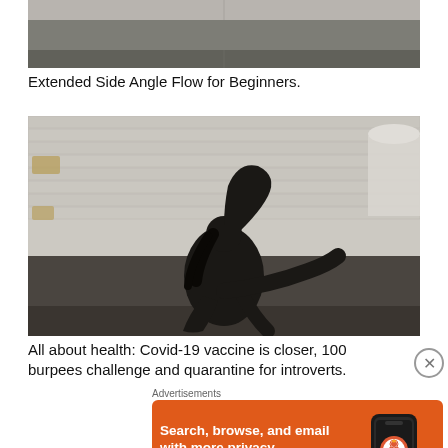[Figure (photo): Partial photo showing a yoga pose in a gym setting, cropped at top of page]
Extended Side Angle Flow for Beginners.
[Figure (photo): Person dressed in black performing a yoga back-bend/pigeon pose in a room with white brick walls and bathroom fixtures]
All about health: Covid-19 vaccine is closer, 100 burpees challenge and quarantine for introverts.
Advertisements
[Figure (screenshot): DuckDuckGo advertisement with orange background. Text: Search, browse, and email with more privacy. All in One Free App. DuckDuckGo logo and phone mockup shown.]